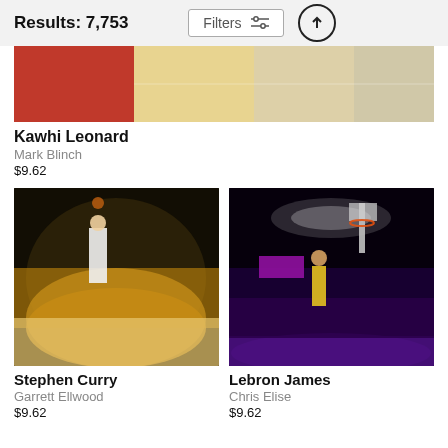Results: 7,753
Filters
[Figure (photo): Partial cropped basketball court photo showing players in red and blue uniforms, likely Kawhi Leonard]
Kawhi Leonard
Mark Blinch
$9.62
[Figure (photo): Stephen Curry taking a jump shot in a Warriors game with yellow-clad crowd in background]
Stephen Curry
Garrett Ellwood
$9.62
[Figure (photo): LeBron James dunking at Staples Center Lakers game, NBA Tickets ad visible, arena crowd in background]
Lebron James
Chris Elise
$9.62